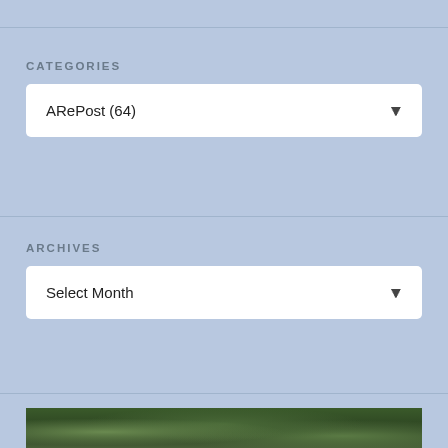CATEGORIES
ARePost (64)
ARCHIVES
Select Month
[Figure (photo): Green foliage/vegetation photo strip at the bottom of a sidebar widget area]